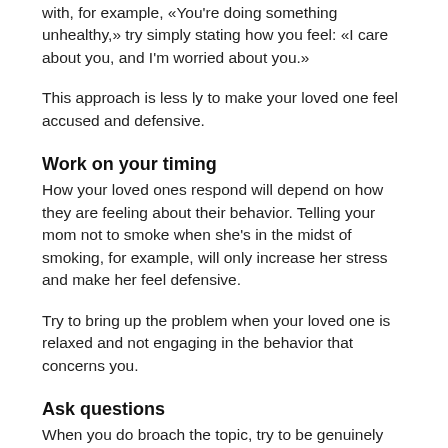with, for example, «You're doing something unhealthy,» try simply stating how you feel: «I care about you, and I'm worried about you.»
This approach is less ly to make your loved one feel accused and defensive.
Work on your timing
How your loved ones respond will depend on how they are feeling about their behavior. Telling your mom not to smoke when she's in the midst of smoking, for example, will only increase her stress and make her feel defensive.
Try to bring up the problem when your loved one is relaxed and not engaging in the behavior that concerns you.
Ask questions
When you do broach the topic, try to be genuinely open and curious and empathic. This can be challenging because you ly feel very strongly that, for example, your friend needs to